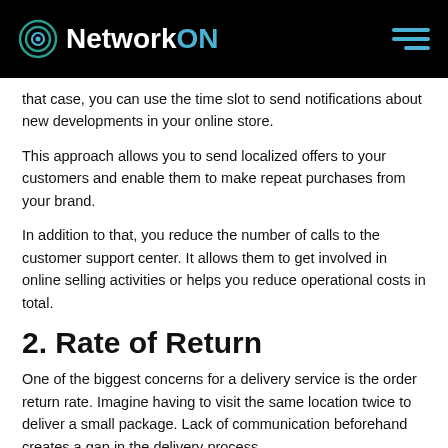NetworkON
that case, you can use the time slot to send notifications about new developments in your online store.
This approach allows you to send localized offers to your customers and enable them to make repeat purchases from your brand.
In addition to that, you reduce the number of calls to the customer support center. It allows them to get involved in online selling activities or helps you reduce operational costs in total.
2. Rate of Return
One of the biggest concerns for a delivery service is the order return rate. Imagine having to visit the same location twice to deliver a small package. Lack of communication beforehand creates a gap in the delivery process.